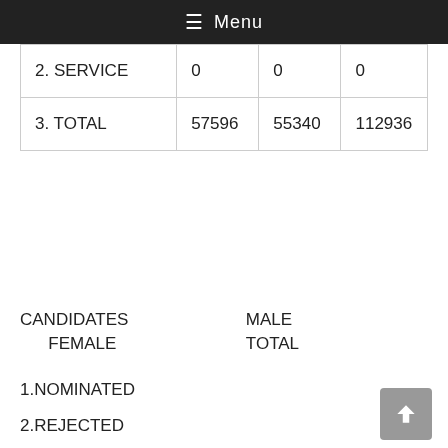Menu
| 2. SERVICE | 0 | 0 | 0 |
| 3. TOTAL | 57596 | 55340 | 112936 |
CANDIDATES   MALE
       FEMALE   TOTAL
1.NOMINATED
2.REJECTED
3.WITHDRAWN